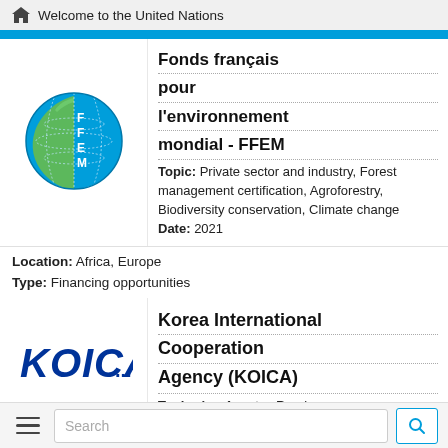Welcome to the United Nations
[Figure (logo): FFEM globe logo with green and blue halves and text FFEM]
Fonds français pour l'environnement mondial - FFEM
Topic: Private sector and industry, Forest management certification, Agroforestry, Biodiversity conservation, Climate change
Date: 2021
Location: Africa, Europe
Type: Financing opportunities
[Figure (logo): KOICA logo in blue text]
Korea International Cooperation Agency (KOICA)
Topic: Agroforestry, Rural
Search